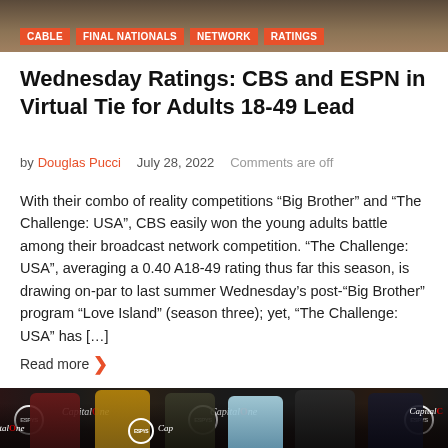[Figure (photo): Top banner image with brown/dark background]
CABLE
FINAL NATIONALS
NETWORK
RATINGS
Wednesday Ratings: CBS and ESPN in Virtual Tie for Adults 18-49 Lead
by Douglas Pucci   July 28, 2022   Comments are off
With their combo of reality competitions “Big Brother” and “The Challenge: USA”, CBS easily won the young adults battle among their broadcast network competition. “The Challenge: USA”, averaging a 0.40 A18-49 rating thus far this season, is drawing on-par to last summer Wednesday’s post-“Big Brother” program “Love Island” (season three); yet, “The Challenge: USA” has […]
Read more
[Figure (photo): Group of athletes/celebrities at ESPYS red carpet event with CapitalOne and ESPYS branding in background]